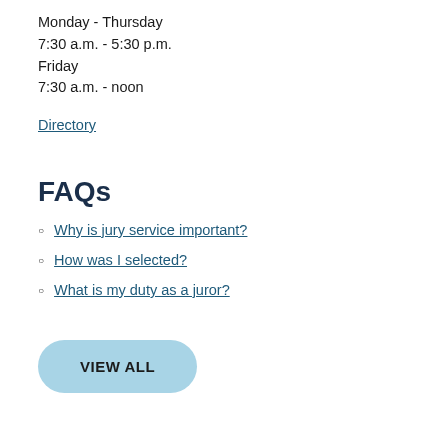Monday - Thursday
7:30 a.m. - 5:30 p.m.
Friday
7:30 a.m. - noon
Directory
FAQs
Why is jury service important?
How was I selected?
What is my duty as a juror?
VIEW ALL